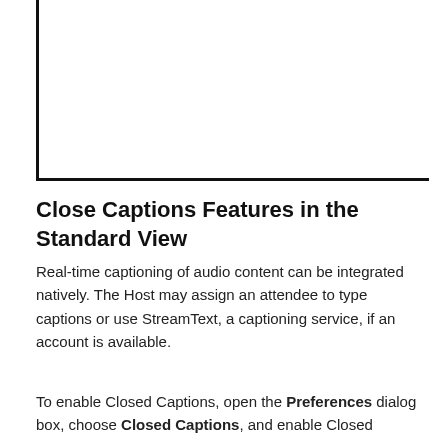[Figure (screenshot): Screenshot of a user interface or application window, partially visible, with a black border on the left and bottom edges.]
Close Captions Features in the Standard View
Real-time captioning of audio content can be integrated natively. The Host may assign an attendee to type captions or use StreamText, a captioning service, if an account is available.
To enable Closed Captions, open the Preferences dialog box, choose Closed Captions, and enable Closed